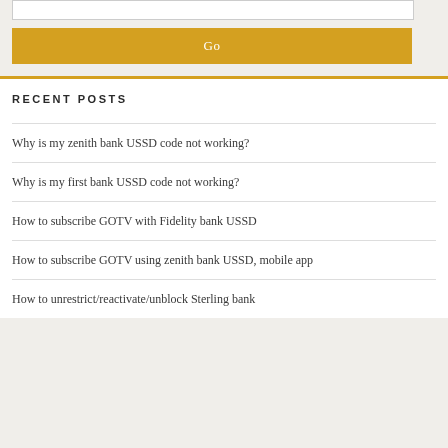[Figure (other): White input text box (search field)]
Go
RECENT POSTS
Why is my zenith bank USSD code not working?
Why is my first bank USSD code not working?
How to subscribe GOTV with Fidelity bank USSD
How to subscribe GOTV using zenith bank USSD, mobile app
How to unrestrict/reactivate/unblock Sterling bank